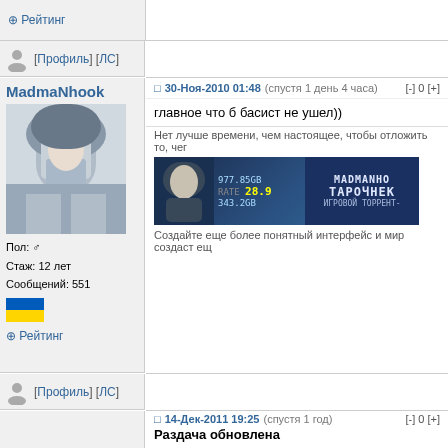⊕ Рейтинг
[Профиль] [ЛС]
MadmaNhook
[Figure (photo): Avatar of MadmaNhook - hooded figure in blue-grey tones]
Пол: ♂
Стаж: 12 лет
Сообщений: 551
⊕ Рейтинг
30-Ноя-2010 01:48  (спустя 1 день 4 часа)  [-] 0 [+]
главное что б басист не ушел))
Нет лучше времени, чем настоящее, чтобы отложить то, чего
[Figure (screenshot): Forum signature banner with Assassin's Creed avatar, stats showing RATE 28.9, 977.85GB, 343.2GB, and branding MADMANHO ТАРОЧНЕК ИГРОВОЙ ТОРРЕНТ-]
Создайте еще более понятный интерфейс и мир создаст ещ
[Профиль] [ЛС]
Resistance
14-Дек-2011 19:25  (спустя 1 год)  [-] 0 [+]
Раздача обновлена